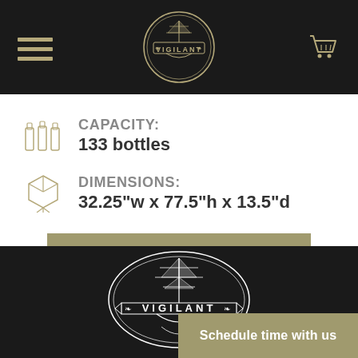Vigilant - navigation header with hamburger menu, logo, and cart icon
CAPACITY:
133 bottles
DIMENSIONS:
32.25"w x 77.5"h x 13.5"d
SELECT OPTIONS
[Figure (logo): Vigilant logo with sailing ship in oval frame, dark background footer area]
Schedule time with us